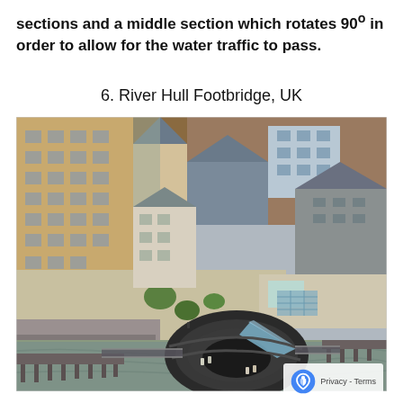sections and a middle section which rotates 90° in order to allow for the water traffic to pass.
6. River Hull Footbridge, UK
[Figure (photo): Aerial view of River Hull Footbridge in Hull, UK. Shows a distinctive circular rotating footbridge with a dark curved structure and glass fin, surrounded by historic brick warehouses, a waterfront plaza with paving and trees, and the River Hull. People are visible on the bridge deck.]